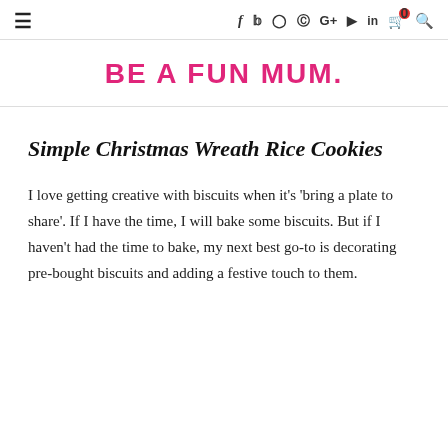≡  f  twitter  instagram  pinterest  G+  youtube  in  🛒0  search
BE A FUN MUM.
Simple Christmas Wreath Rice Cookies
I love getting creative with biscuits when it's 'bring a plate to share'. If I have the time, I will bake some biscuits. But if I haven't had the time to bake, my next best go-to is decorating pre-bought biscuits and adding a festive touch to them.